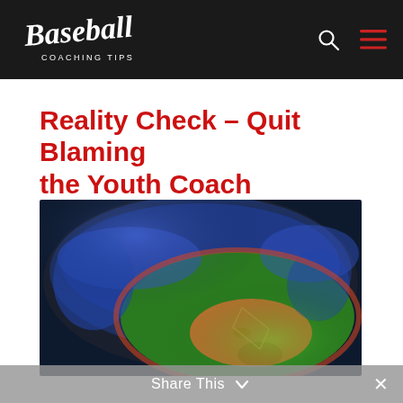Baseball Coaching Tips
Reality Check – Quit Blaming the Youth Coach
by Jack Perconte | Mar 10, 2014 | Parenting Tips, Raising an Athlete | 0 comments
[Figure (photo): Aerial view of a baseball stadium filled with spectators, showing the diamond and green outfield from above at night/dusk.]
Share This